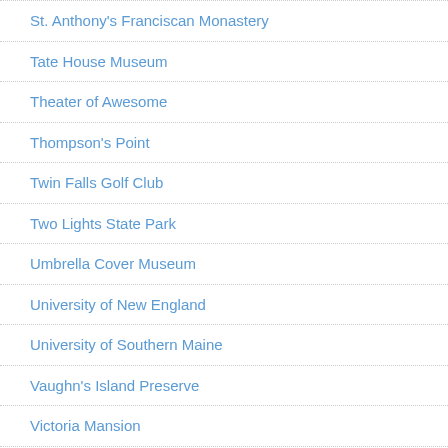St. Anthony's Franciscan Monastery
Tate House Museum
Theater of Awesome
Thompson's Point
Twin Falls Golf Club
Two Lights State Park
Umbrella Cover Museum
University of New England
University of Southern Maine
Vaughn's Island Preserve
Victoria Mansion
W. Robert Paine Gallery